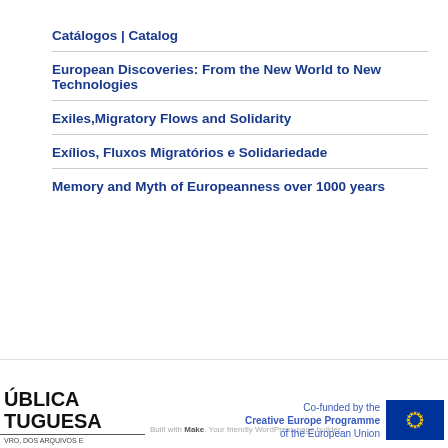Catálogos | Catalog
European Discoveries: From the New World to New Technologies
Exiles,Migratory Flows and Solidarity
Exílios, Fluxos Migratórios e Solidariedade
Memory and Myth of Europeanness over 1000 years
Co-funded by the Creative Europe Programme of the European Union